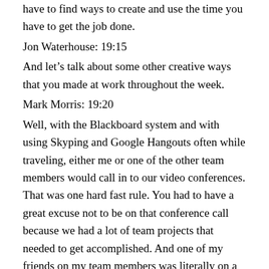have to find ways to create and use the time you have to get the job done.
Jon Waterhouse: 19:15
And let's talk about some other creative ways that you made at work throughout the week.
Mark Morris: 19:20
Well, with the Blackboard system and with using Skyping and Google Hangouts often while traveling, either me or one of the other team members would call in to our video conferences. That was one hard fast rule. You had to have a great excuse not to be on that conference call because we had a lot of team projects that needed to get accomplished. And one of my friends on my team members was literally on a subway in L.A. calling into the conference. And so we got the meeting done